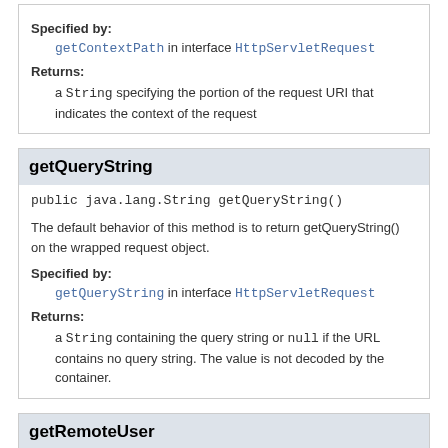Specified by:
getContextPath in interface HttpServletRequest
Returns:
a String specifying the portion of the request URI that indicates the context of the request
getQueryString
public java.lang.String getQueryString()
The default behavior of this method is to return getQueryString() on the wrapped request object.
Specified by:
getQueryString in interface HttpServletRequest
Returns:
a String containing the query string or null if the URL contains no query string. The value is not decoded by the container.
getRemoteUser